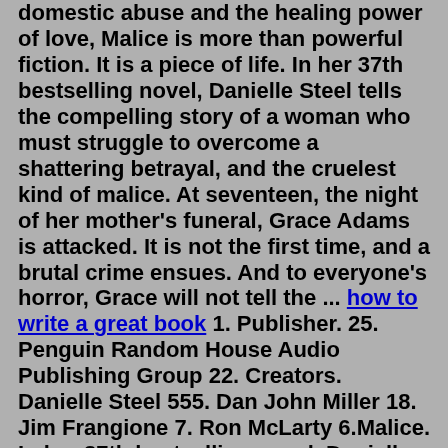domestic abuse and the healing power of love, Malice is more than powerful fiction. It is a piece of life. In her 37th bestselling novel, Danielle Steel tells the compelling story of a woman who must struggle to overcome a shattering betrayal, and the cruelest kind of malice. At seventeen, the night of her mother's funeral, Grace Adams is attacked. It is not the first time, and a brutal crime ensues. And to everyone's horror, Grace will not tell the ... how to write a great book 1. Publisher. 25. Penguin Random House Audio Publishing Group 22. Creators. Danielle Steel 555. Dan John Miller 18. Jim Frangione 7. Ron McLarty 6.Malice. In her 37th bestselling novel, Danielle Steel tells the compelling story of a woman who must struggle to overcome a shattering betrayal, and the cruelest kind of malice. At seventeen, the night of her mother's funeral, Grace Adams is attacked. It is not the first time, and a brutal crime ensues. The book Malice is by Danielle Steele and deals with abuse. If you can not handle reading about abuse, this book is not for you. We meet Grace Adams who is abused